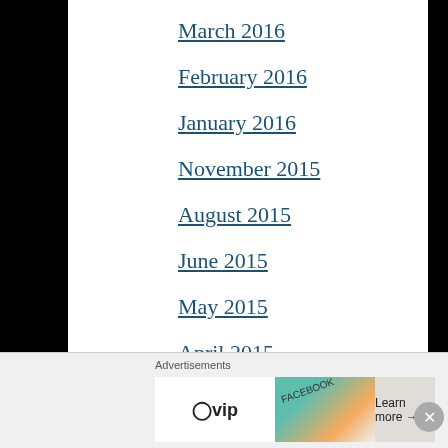March 2016
February 2016
January 2016
November 2015
August 2015
June 2015
May 2015
April 2015
March 2015
February 2015
December 2014
November 2014
October 2014
Advertisements
[Figure (other): WordPress VIP advertisement banner with social media imagery and Learn more button]